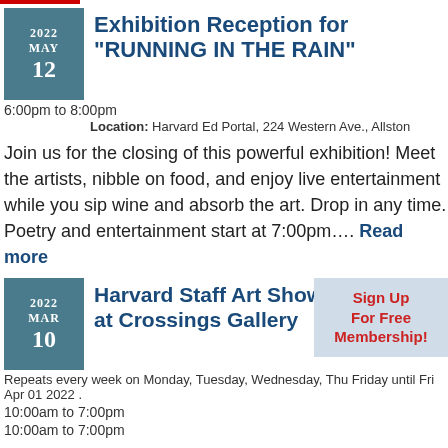Exhibition Reception for "RUNNING IN THE RAIN"
6:00pm to 8:00pm
Location: Harvard Ed Portal, 224 Western Ave., Allston
Join us for the closing of this powerful exhibition! Meet the artists, nibble on food, and enjoy live entertainment while you sip wine and absorb the art. Drop in any time. Poetry and entertainment start at 7:00pm.... Read more
Harvard Staff Art Show at Crossings Gallery
Repeats every week on Monday, Tuesday, Wednesday, Thursday, Friday until Fri Apr 01 2022 .
10:00am to 7:00pm
10:00am to 7:00pm
Sign Up For Free Membership!